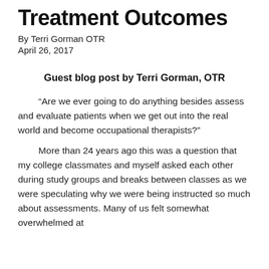Treatment Outcomes
By Terri Gorman OTR
April 26, 2017
Guest blog post by Terri Gorman, OTR
“Are we ever going to do anything besides assess and evaluate patients when we get out into the real world and become occupational therapists?”
More than 24 years ago this was a question that my college classmates and myself asked each other during study groups and breaks between classes as we were speculating why we were being instructed so much about assessments. Many of us felt somewhat overwhelmed at